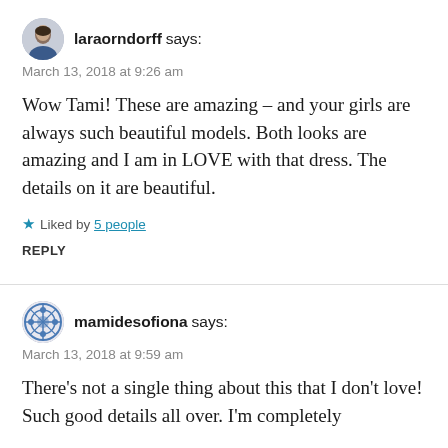laraorndorff says:
March 13, 2018 at 9:26 am
Wow Tami! These are amazing – and your girls are always such beautiful models. Both looks are amazing and I am in LOVE with that dress. The details on it are beautiful.
★ Liked by 5 people
REPLY
mamidesofiona says:
March 13, 2018 at 9:59 am
There's not a single thing about this that I don't love! Such good details all over. I'm completely